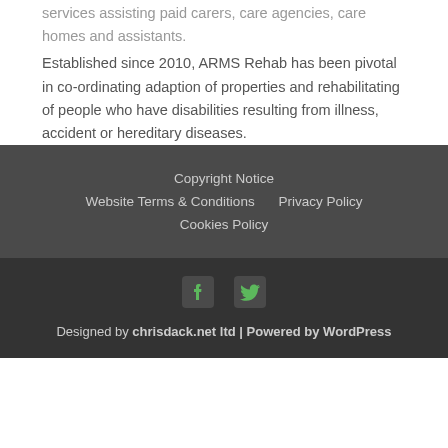services assisting paid carers, care agencies, care homes and assistants.
Established since 2010, ARMS Rehab has been pivotal in co-ordinating adaption of properties and rehabilitating of people who have disabilities resulting from illness, accident or hereditary diseases.
Copyright Notice | Website Terms & Conditions | Privacy Policy | Cookies Policy
Designed by chrisdack.net ltd | Powered by WordPress